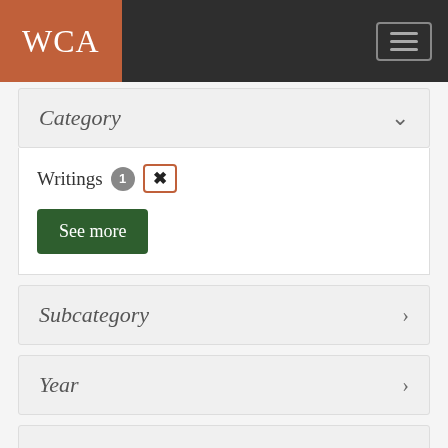WCA
Category
Writings 1 [x]
See more
Subcategory
Year
People
Bloom, Sarah J. 1
Cather, Meta Schaper 1